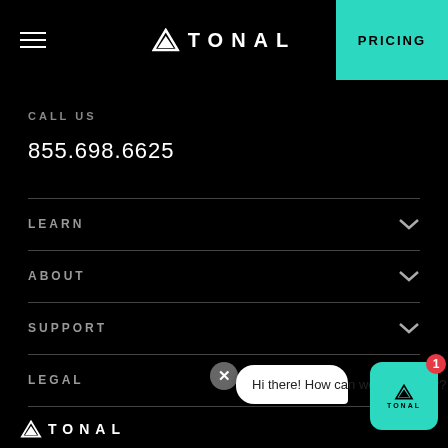TONAL | PRICING
CALL US
855.698.6625
LEARN
ABOUT
SUPPORT
LEGAL
Hi there! How can we help today?
TONAL